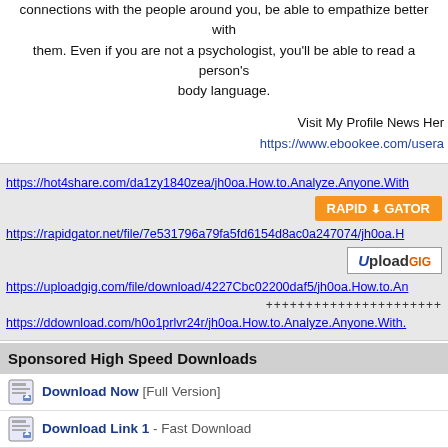connections with the people around you, be able to empathize better with them. Even if you are not a psychologist, you'll be able to read a person's body language.
Visit My Profile News Here
https://www.ebookee.com/usera
https://hot4share.com/da1zy1840zea/jh0oa.How.to.Analyze.Anyone.With
https://rapidgator.net/file/7e531796a79fa5fd6154d8ac0a247074/jh0oa.H
https://uploadgig.com/file/download/4227Cbc02200daf5/jh0oa.How.to.An
++++++++++++++++++++++
https://ddownload.com/h0o1prlvr24r/jh0oa.How.to.Analyze.Anyone.With.
Sponsored High Speed Downloads
Download Now [Full Version]
Download Link 1 - Fast Download
Download Mirror - Direct Download